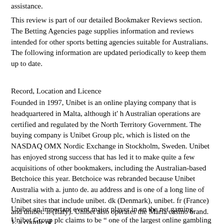assistance.
This review is part of our detailed Bookmaker Reviews section. The Betting Agencies page supplies information and reviews intended for other sports betting agencies suitable for Australians. The following information are updated periodically to keep them up to date.
Record, Location and Licence
Founded in 1997, Unibet is an online playing company that is headquartered in Malta, although it’ h Australian operations are certified and regulated by the North Territory Government. The buying company is Unibet Group plc, which is listed on the NASDAQ OMX Nordic Exchange in Stockholm, Sweden. Unibet has enjoyed strong success that has led it to make quite a few acquisitions of other bookmakers, including the Australian-based Betchoice this year. Betchoice was rebranded because Unibet Australia with a. junto de. au address and is one of a long line of Unibet sites that include unibet. dk (Denmark), unibet. fr (France) and unibet. it (Italy). Unibet also operates the Maria casino brand. 1, a couple of
Unibet an important event major player in on the net gaming. Unibet Group plc claims to be “ one of the largest online gambling